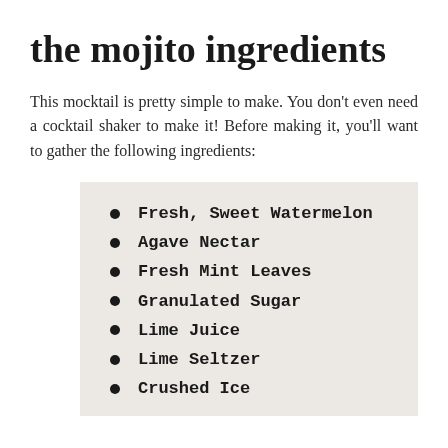the mojito ingredients
This mocktail is pretty simple to make. You don't even need a cocktail shaker to make it! Before making it, you'll want to gather the following ingredients:
Fresh, Sweet Watermelon
Agave Nectar
Fresh Mint Leaves
Granulated Sugar
Lime Juice
Lime Seltzer
Crushed Ice